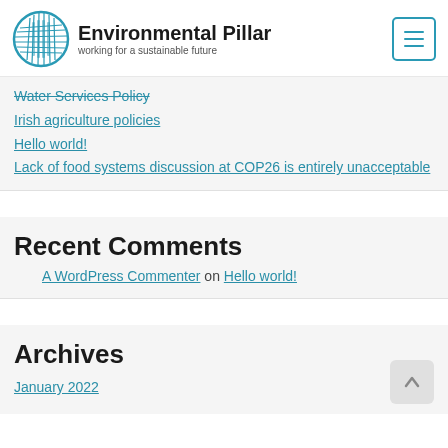Environmental Pillar - working for a sustainable future
Water Services Policy
Irish agriculture policies
Hello world!
Lack of food systems discussion at COP26 is entirely unacceptable
Recent Comments
A WordPress Commenter on Hello world!
Archives
January 2022